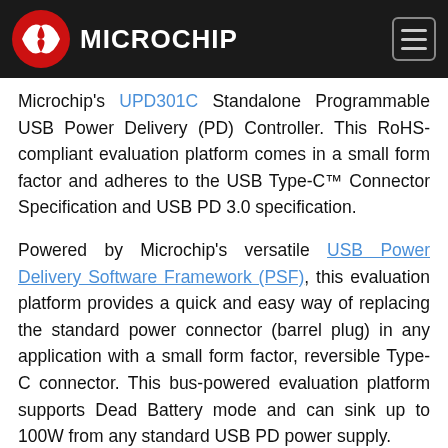Microchip
Microchip's UPD301C Standalone Programmable USB Power Delivery (PD) Controller. This RoHS-compliant evaluation platform comes in a small form factor and adheres to the USB Type-C™ Connector Specification and USB PD 3.0 specification.
Powered by Microchip's versatile USB Power Delivery Software Framework (PSF), this evaluation platform provides a quick and easy way of replacing the standard power connector (barrel plug) in any application with a small form factor, reversible Type-C connector. This bus-powered evaluation platform supports Dead Battery mode and can sink up to 100W from any standard USB PD power supply.
With the PSF stack, this platform supports up to